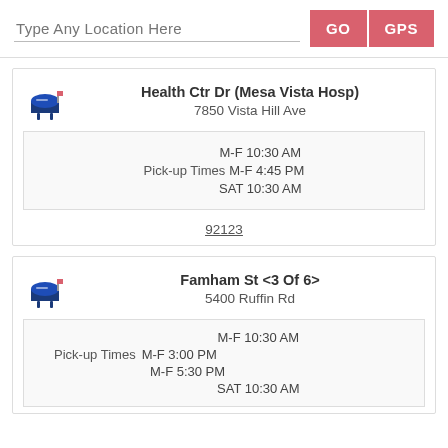Type Any Location Here
Health Ctr Dr (Mesa Vista Hosp)
7850 Vista Hill Ave
Pick-up Times M-F 10:30 AM, M-F 4:45 PM, SAT 10:30 AM
92123
Famham St <3 Of 6>
5400 Ruffin Rd
Pick-up Times M-F 10:30 AM, M-F 3:00 PM, M-F 5:30 PM, SAT 10:30 AM